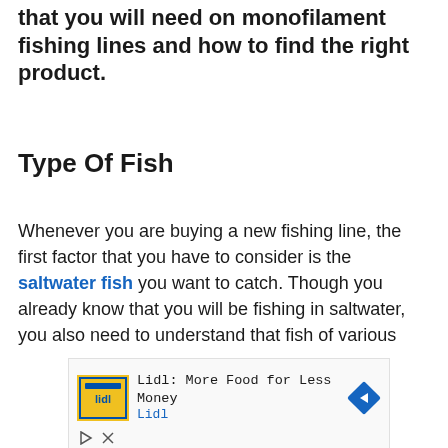that you will need on monofilament fishing lines and how to find the right product.
Type Of Fish
Whenever you are buying a new fishing line, the first factor that you have to consider is the saltwater fish you want to catch. Though you already know that you will be fishing in saltwater, you also need to understand that fish of various
[Figure (screenshot): Advertisement banner for Lidl: More Food for Less Money, showing Lidl logo, text, and a blue navigation arrow icon, with play and close controls below.]